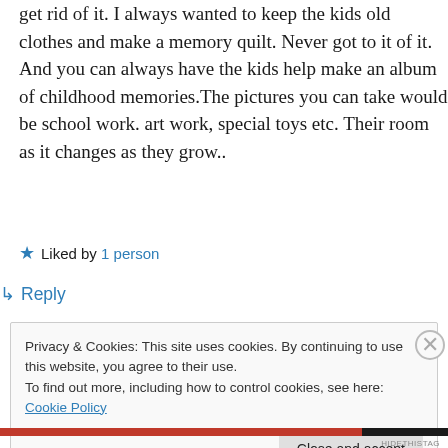get rid of it. I always wanted to keep the kids old clothes and make a memory quilt. Never got to it of it. And you can always have the kids help make an album of childhood memories.The pictures you can take would be school work. art work, special toys etc. Their room as it changes as they grow..
★ Liked by 1 person
↳ Reply
Privacy & Cookies: This site uses cookies. By continuing to use this website, you agree to their use.
To find out more, including how to control cookies, see here: Cookie Policy
Close and accept